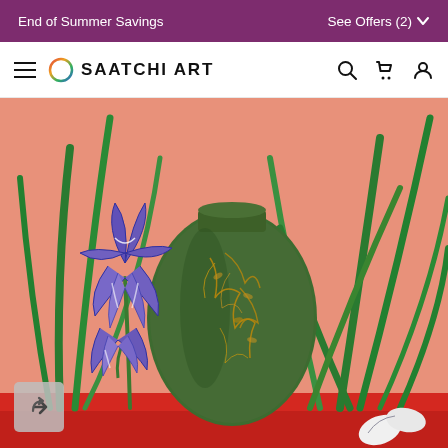End of Summer Savings   See Offers (2)
[Figure (logo): Saatchi Art website navigation bar with hamburger menu, circular gradient logo, SAATCHI ART text, and search/cart/user icons]
[Figure (illustration): Painting of purple iris flowers, large green ceramic vase with golden botanical decoration, green grass/leaves, coral/salmon pink background, red surface at bottom, partial white flower at lower right]